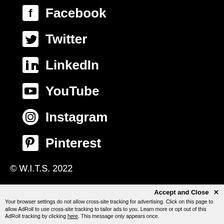Facebook
Twitter
LinkedIn
YouTube
Instagram
Pinterest
© W.I.T.S. 2022
Accept and Close ✕
Your browser settings do not allow cross-site tracking for advertising. Click on this page to allow AdRoll to use cross-site tracking to tailor ads to you. Learn more or opt out of this AdRoll tracking by clicking here. This message only appears once.